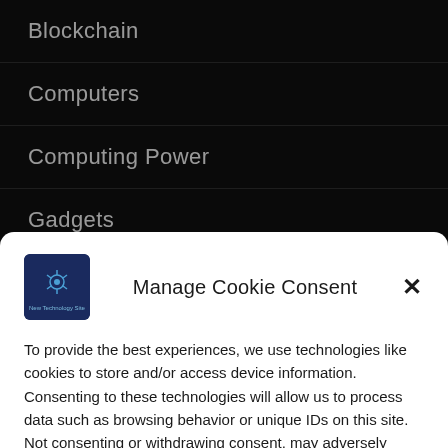Blockchain
Computers
Computing Power
Gadgets
Gaming
Manage Cookie Consent
To provide the best experiences, we use technologies like cookies to store and/or access device information. Consenting to these technologies will allow us to process data such as browsing behavior or unique IDs on this site. Not consenting or withdrawing consent, may adversely affect certain features and functions.
Accept